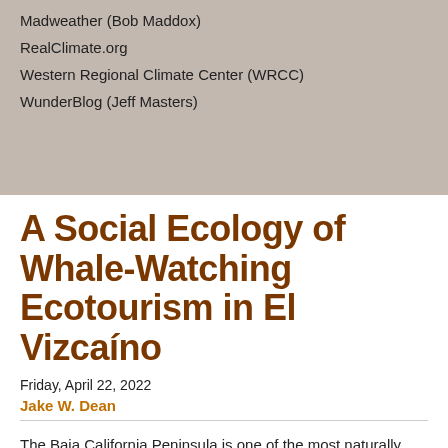Madweather (Bob Maddox)
RealClimate.org
Western Regional Climate Center (WRCC)
WunderBlog (Jeff Masters)
A Social Ecology of Whale-Watching Ecotourism in El Vizcaíno
Friday, April 22, 2022
Jake W. Dean
The Baja California Peninsula is one of the most naturally stunning parts of our globe, split from the mainland of Mexico by the San Andreas Fault. Yet for decades, outsiders saw the area as an isolated and unproductive land with minimal economic value. Especially following the decline of the local whaling industry in the early 1900s, regional economic opportunities were limited to fishing, irrigated agriculture and ranching outside of the rise of the saltworks industry in 1954